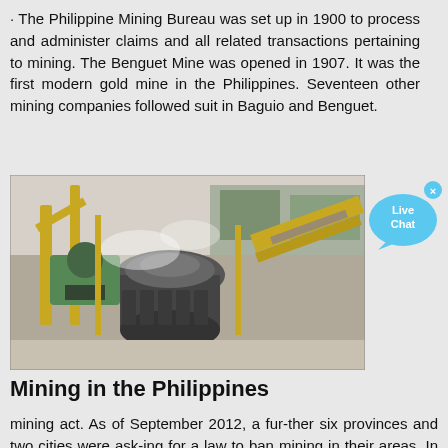· The Philippine Mining Bureau was set up in 1900 to process and administer claims and all related transactions pertaining to mining. The Benguet Mine was opened in 1907. It was the first modern gold mine in the Philippines. Seventeen other mining companies followed suit in Baguio and Benguet.
[Figure (photo): Photograph of a mining facility showing heavy industrial machinery including crushers, conveyor belts, and processing equipment at a Philippine mine site.]
Mining in the Philippines
mining act. As of September 2012, a fur-ther six provinces and two cities were ask-ing for a law to ban mining in their areas. In January 2011, President Aquino im-posed a